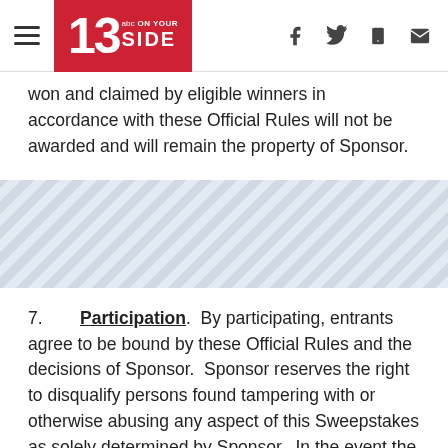13 ON YOUR SIDE — navigation header with social icons
won and claimed by eligible winners in accordance with these Official Rules will not be awarded and will remain the property of Sponsor.
[Figure (other): Advertisement / promotional banner area with diagonal stripe pattern]
7. Participation. By participating, entrants agree to be bound by these Official Rules and the decisions of Sponsor. Sponsor reserves the right to disqualify persons found tampering with or otherwise abusing any aspect of this Sweepstakes as solely determined by Sponsor. In the event the Sweepstakes is compromised by a virus, non-authorized